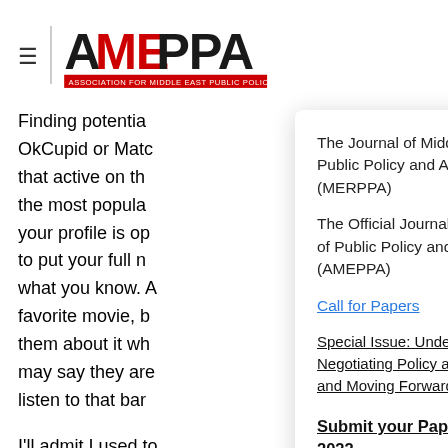AMEPPA — Association of Middle East Public Policy and Administration
Finding potentia... OkCupid or Matc... that active on th... the most popula... your profile is op... to put your full n... what you know. A... favorite movie, b... them about it wh... may say they are... listen to that ba...

I'll admit I used t... eventually, I real... about the perso...
The Journal of Middle East Review of Public Policy and Administration (MERPPA)
The Official Journal of the Association of Public Policy and Administration (AMEPPA)
Call for Papers
Special Issue: Understanding History, Negotiating Policy and Administration, and Moving Forward
Submit your Paper by March 30th, 2022